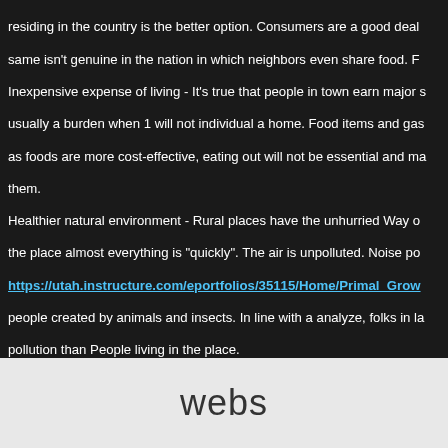residing in the country is the better option. Consumers are a good deal same isn't genuine in the nation in which neighbors even share food. Inexpensive expense of living - It's true that people in town earn major s usually a burden when 1 will not individual a home. Food items and gas as foods are more cost-effective, eating out will not be essential and ma them.
Healthier natural environment - Rural places have the unhurried Way o the place almost everything is "quickly". The air is unpolluted. Noise po
https://utah.instructure.com/eportfolios/35115/Home/Primal_Grow
people created by animals and insects. In line with a analyze, folks in la pollution than People living in the place.
Downsides
Long Journey Time - 1 key downside to living in the countryside would even unpaved roadways that happen to be significant main reasons wh suburbs is to obtain your own vehicle for simplicity of travel.
Inaccessibility - Remote places don't have rapidly food items chains an
webs